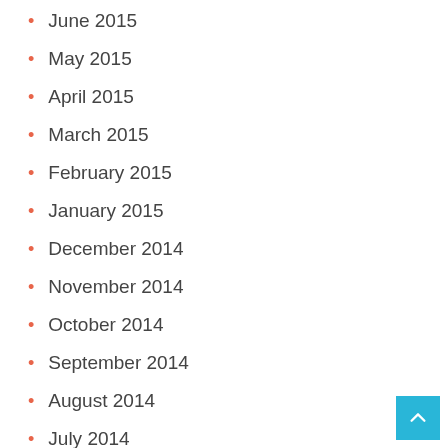June 2015
May 2015
April 2015
March 2015
February 2015
January 2015
December 2014
November 2014
October 2014
September 2014
August 2014
July 2014
June 2014